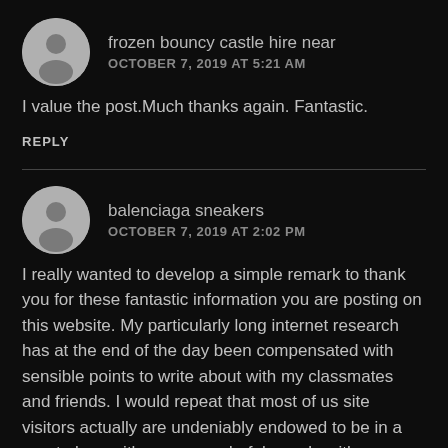[Figure (illustration): Gray circular avatar with silhouette of a person, for comment by 'frozen bouncy castle hire near']
frozen bouncy castle hire near
OCTOBER 7, 2019 AT 5:21 AM
I value the post.Much thanks again. Fantastic.
REPLY
[Figure (illustration): Gray circular avatar with silhouette of a person, for comment by 'balenciaga sneakers']
balenciaga sneakers
OCTOBER 7, 2019 AT 2:02 PM
I really wanted to develop a simple remark to thank you for these fantastic information you are posting on this website. My particularly long internet research has at the end of the day been compensated with sensible points to write about with my classmates and friends. I would repeat that most of us site visitors actually are undeniably endowed to be in a great place with many wonderful people with very beneficial guidelines. I feel